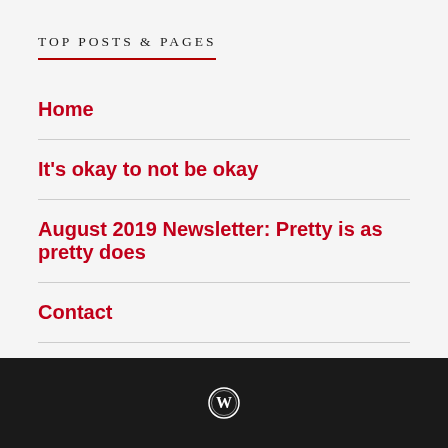TOP POSTS & PAGES
Home
It's okay to not be okay
August 2019 Newsletter: Pretty is as pretty does
Contact
It's just the worst...
WordPress logo